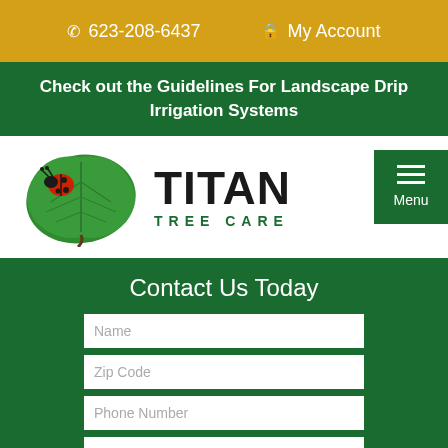☎ 623-208-6437   🔒 My Account
Check out the Guidelines For Landscape Drip Irrigation Systems
[Figure (logo): Titan Tree Care logo - green maple leaf with ladybug and bold TITAN text with TREE CARE subtitle]
Contact Us Today
Name
Zip Code
Phone Number
E-mail Address
About Us   Service Area   Contact Us